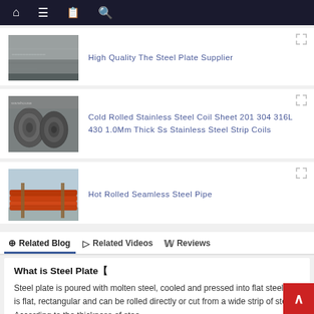Navigation bar with home, menu, bookmark, search icons
[Figure (photo): Steel plate flat grey surface product thumbnail]
High Quality The Steel Plate Supplier
[Figure (photo): Cold rolled stainless steel coils stacked in warehouse thumbnail]
Cold Rolled Stainless Steel Coil Sheet 201 304 316L 430 1.0Mm Thick Ss Stainless Steel Strip Coils
[Figure (photo): Hot rolled seamless steel pipe bundled orange/red pipes thumbnail]
Hot Rolled Seamless Steel Pipe
Related Blog   Related Videos   Reviews
What is Steel Plate【
Steel plate is poured with molten steel, cooled and pressed into flat steel. It is flat, rectangular and can be rolled directly or cut from a wide strip of steel. According to the thickness of stee...